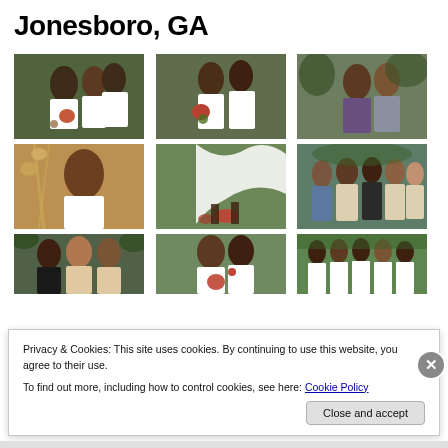Jonesboro, GA
[Figure (photo): Grid of 9 wedding photos showing couples and wedding party in Jonesboro, GA]
Privacy & Cookies: This site uses cookies. By continuing to use this website, you agree to their use.
To find out more, including how to control cookies, see here: Cookie Policy
Close and accept